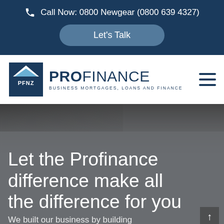Call Now: 0800 Newgear (0800 639 4327)
Let's Talk
[Figure (logo): ProFinance NZ logo with house/roof icon labelled PFNZ, and text PROFINANCE BUSINESS MORTGAGES, LOANS AND FINANCE]
Let the Profinance difference make all the difference for you
We built our business by building